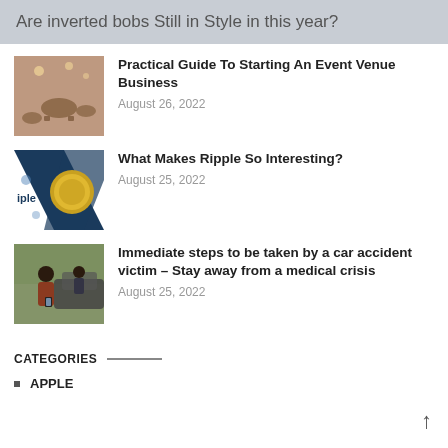Are inverted bobs Still in Style in this year?
[Figure (photo): Photo of an event venue interior with round wooden tables and warm lighting]
Practical Guide To Starting An Event Venue Business
August 26, 2022
[Figure (photo): Photo related to Ripple cryptocurrency with dark blue and gold coin imagery and word 'ripple']
What Makes Ripple So Interesting?
August 25, 2022
[Figure (photo): Photo of a car accident scene with a woman looking at phone and a man near a car]
Immediate steps to be taken by a car accident victim – Stay away from a medical crisis
August 25, 2022
CATEGORIES
APPLE